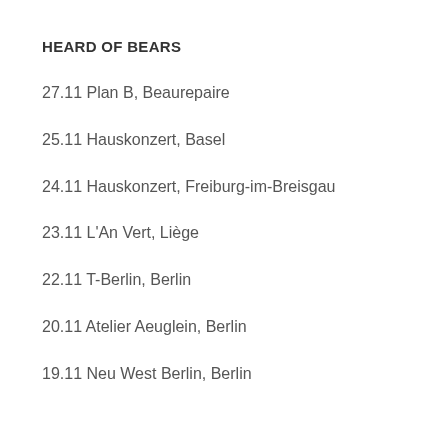HEARD OF BEARS
27.11 Plan B, Beaurepaire
25.11 Hauskonzert, Basel
24.11 Hauskonzert, Freiburg-im-Breisgau
23.11 L'An Vert, Liège
22.11 T-Berlin, Berlin
20.11 Atelier Aeuglein, Berlin
19.11 Neu West Berlin, Berlin